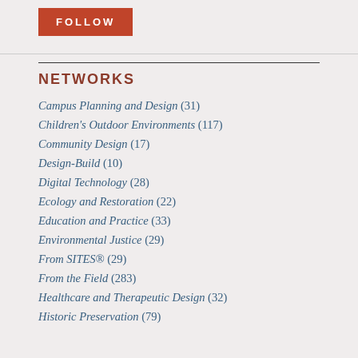[Figure (other): Red FOLLOW button on light gray background]
NETWORKS
Campus Planning and Design (31)
Children's Outdoor Environments (117)
Community Design (17)
Design-Build (10)
Digital Technology (28)
Ecology and Restoration (22)
Education and Practice (33)
Environmental Justice (29)
From SITES® (29)
From the Field (283)
Healthcare and Therapeutic Design (32)
Historic Preservation (79)